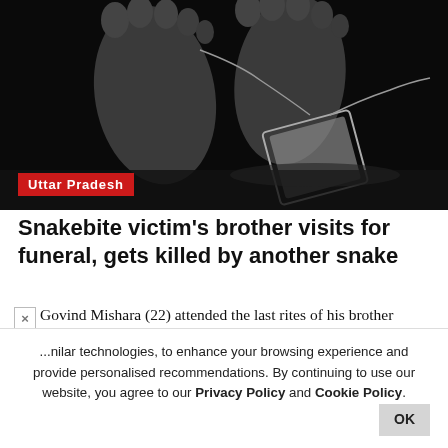[Figure (photo): Black and white photo of feet with a toe tag, shot from low angle on a dark surface]
Uttar Pradesh
Snakebite victim's brother visits for funeral, gets killed by another snake
Govind Mishara (22) attended the last rites of his brother ... hawanipur village on
[Figure (photo): Photo of a building demolition with large dust/smoke cloud and urban skyline in background]
... T I
nilar technologies, to enhance your browsing experience and provide personalised recommendations. By continuing to use our website, you agree to our Privacy Policy and Cookie Policy.